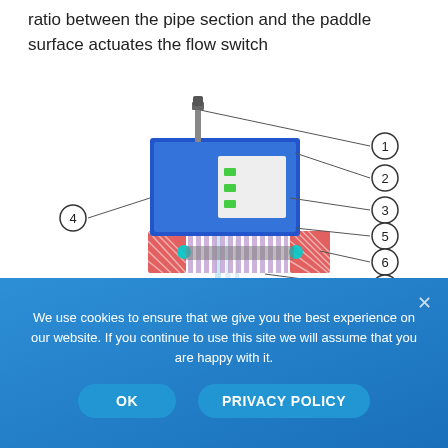ratio between the pipe section and the paddle surface actuates the flow switch
[Figure (engineering-diagram): Cross-section engineering diagram of a flow switch assembly with numbered callouts 1 through 8. Shows internal components including pipe section, paddle, seals, and housing. A black arrow at bottom left indicates flow direction.]
We use cookies to ensure that we give you the best experience on our website. If you continue to use this site we will assume that you are happy with it.